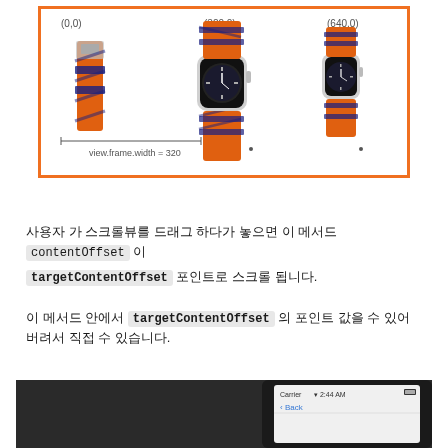[Figure (illustration): Diagram showing a scroll view with three Apple Watch images at x-offsets (0,0), (320,0), and (640,0), with an orange border and a 'view.frame.width = 320' measurement annotation]
사용자 가 스크롤뷰를 드래그 하다가 놓으면 이 메서드 contentOffset 이
targetContentOffset 포인트로 스크롤 됩니다.
이 메서드 안에서 targetContentOffset 의 포인트 값을 수 있어버려서 직접 수 있습니다.
[Figure (screenshot): Bottom portion of a page showing a dark background on the left and a phone mockup on the right with 'Carrier', '2:44 AM', 'Back' visible]